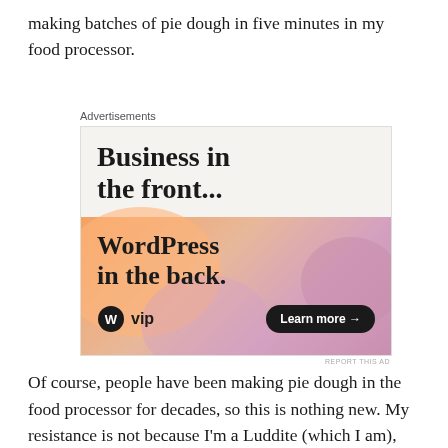making batches of pie dough in five minutes in my food processor.
[Figure (other): WordPress VIP advertisement. Top section on light beige background reads 'Business in the front...' in large bold serif font. Bottom section has colorful gradient background (peach/salmon/mauve) with blob shapes, reading 'WordPress in the back.' with WordPress VIP logo on left and 'Learn more →' button on right.]
Of course, people have been making pie dough in the food processor for decades, so this is nothing new. My resistance is not because I'm a Luddite (which I am),